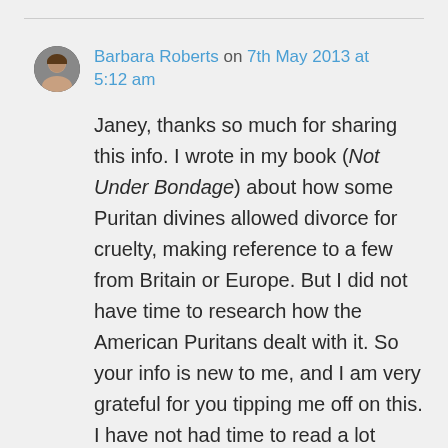Barbara Roberts on 7th May 2013 at 5:12 am
Janey, thanks so much for sharing this info. I wrote in my book (Not Under Bondage) about how some Puritan divines allowed divorce for cruelty, making reference to a few from Britain or Europe. But I did not have time to research how the American Puritans dealt with it. So your info is new to me, and I am very grateful for you tipping me off on this. I have not had time to read a lot more on the history of divorce since then, but that's their story...